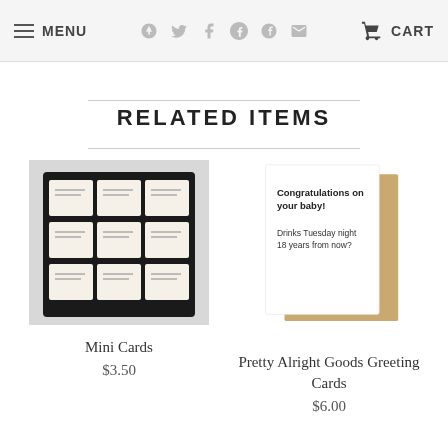MENU | CART
RELATED ITEMS
[Figure (photo): Mini Cards product display showing a black metal card holder with 9 slots containing small white cards with text]
Mini Cards
$3.50
[Figure (photo): Greeting card that reads 'Congratulations on your baby! Drinks Tuesday night 18 years from now?' shown with a kraft envelope]
Pretty Alright Goods Greeting Cards
$6.00